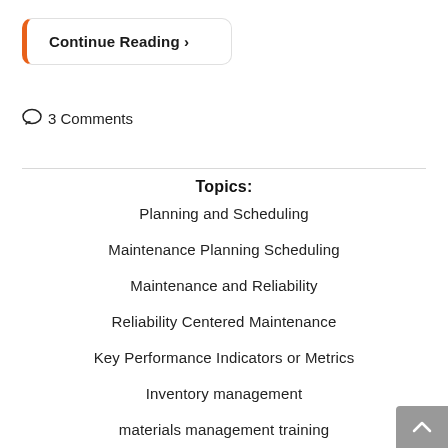Continue Reading >
3 Comments
Topics:
Planning and Scheduling
Maintenance Planning Scheduling
Maintenance and Reliability
Reliability Centered Maintenance
Key Performance Indicators or Metrics
Inventory management
materials management training